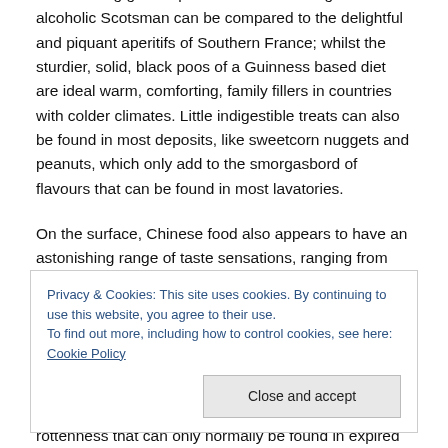mid-morning green splashes of a middle aged alcoholic Scotsman can be compared to the delightful and piquant aperitifs of Southern France; whilst the sturdier, solid, black poos of a Guinness based diet are ideal warm, comforting, family fillers in countries with colder climates. Little indigestible treats can also be found in most deposits, like sweetcorn nuggets and peanuts, which only add to the smorgasbord of flavours that can be found in most lavatories.
On the surface, Chinese food also appears to have an astonishing range of taste sensations, ranging from sweet,
Privacy & Cookies: This site uses cookies. By continuing to use this website, you agree to their use.
To find out more, including how to control cookies, see here: Cookie Policy
rottenness that can only normally be found in expired